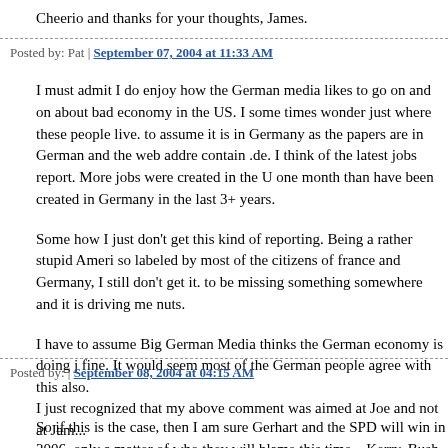Cheerio and thanks for your thoughts, James.
Posted by: Pat | September 07, 2004 at 11:33 AM
I must admit I do enjoy how the German media likes to go on and on about bad economy in the US. I some times wonder just where these people live. to assume it is in Germany as the papers are in German and the web addre contain .de. I think of the latest jobs report. More jobs were created in the U one month than have been created in Germany in the last 3+ years.
Some how I just don't get this kind of reporting. Being a rather stupid Ameri so labeled by most of the citizens of france and Germany, I still don't get it. to be missing something somewhere and it is driving me nuts.
I have to assume Big German Media thinks the German economy is doing j fine. It would seem most of the German people agree with this also.
So if this is the case, then I am sure Gerhart and the SPD will win in 2006. only a matter of who they will blame this time – Kerry, Bush, Putin.
Posted by:  | September 08, 2004 at 04:15 AM
I just recognized that my above comment was aimed at Joe and not at Jam...